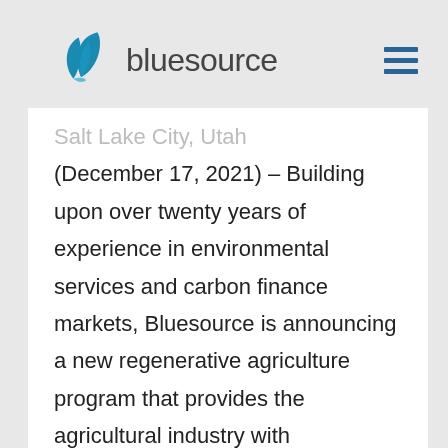[Figure (logo): Bluesource company logo with teal leaf/droplet icon and text 'bluesource' in grey]
Salt Lake City, Utah (December 17, 2021) – Building upon over twenty years of experience in environmental services and carbon finance markets, Bluesource is announcing a new regenerative agriculture program that provides the agricultural industry with opportunities to gain value from carbon reduction and